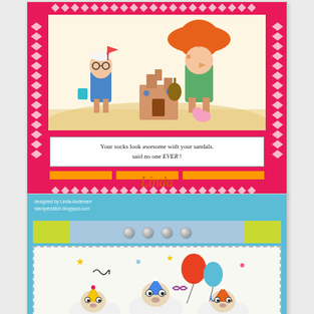[Figure (illustration): Handmade greeting card with hot pink chevron border, cartoon beach scene with whimsical characters building sandcastles, and humorous text box reading: 'Your socks look awesome with your sandals. said no one EVER!']
Linda
[Figure (photo): Handmade card designed by Linda Andersen (stamperstitch.blogspot.com), featuring a blue border, yellow-patterned header strip with silver brads, and cartoon woolly sheep wearing party hats celebrating a birthday with balloons and stars.]